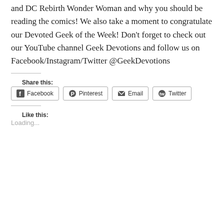and DC Rebirth Wonder Woman and why you should be reading the comics! We also take a moment to congratulate our Devoted Geek of the Week! Don't forget to check out our YouTube channel Geek Devotions and follow us on Facebook/Instagram/Twitter @GeekDevotions
Share this:
Facebook  Pinterest  Email  Twitter
Like this:
Loading...